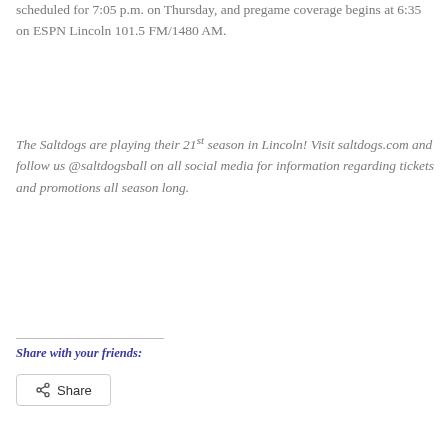scheduled for 7:05 p.m. on Thursday, and pregame coverage begins at 6:35 on ESPN Lincoln 101.5 FM/1480 AM.
The Saltdogs are playing their 21st season in Lincoln! Visit saltdogs.com and follow us @saltdogsball on all social media for information regarding tickets and promotions all season long.
Share with your friends:
[Figure (other): Share button with share icon]